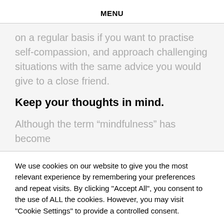MENU
on a regular basis if you want to practise self-compassion, and approach challenging situations with the same advice you would give to a close friend.
Keep your thoughts in mind.
Although the term “mindfulness” has become
We use cookies on our website to give you the most relevant experience by remembering your preferences and repeat visits. By clicking "Accept All", you consent to the use of ALL the cookies. However, you may visit "Cookie Settings" to provide a controlled consent.